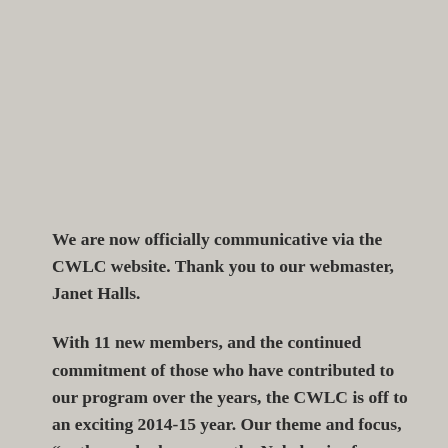We are now officially communicative via the CWLC website. Thank you to our webmaster, Janet Halls.
With 11 new members, and the continued commitment of those who have contributed to our program over the years, the CWLC is off to an exciting 2014-15 year. Our theme and focus, “authors who have won the Nobel prize for literature”, opened with a presentation by Dr. Kit